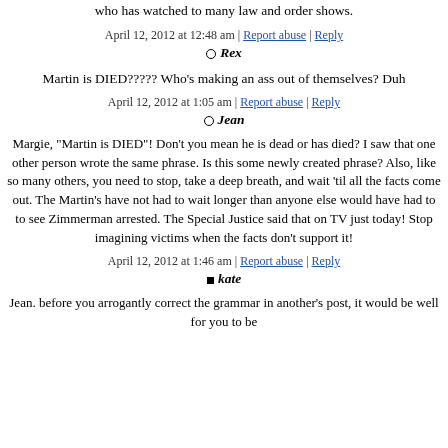who has watched to many law and order shows.
April 12, 2012 at 12:48 am | Report abuse | Reply
Rex
Martin is DIED????? Who's making an ass out of themselves? Duh
April 12, 2012 at 1:05 am | Report abuse | Reply
Jean
Margie, "Martin is DIED"! Don't you mean he is dead or has died? I saw that one other person wrote the same phrase. Is this some newly created phrase? Also, like so many others, you need to stop, take a deep breath, and wait 'til all the facts come out. The Martin's have not had to wait longer than anyone else would have had to to see Zimmerman arrested. The Special Justice said that on TV just today! Stop imagining victims when the facts don't support it!
April 12, 2012 at 1:46 am | Report abuse | Reply
kate
Jean. before you arrogantly correct the grammar in another's post, it would be well for you to be